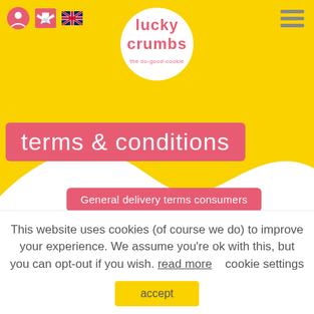[Figure (logo): Lucky Crumbs logo — red handwritten-style text with circular badge and tagline 'the do-good-cookie']
terms & conditions
General delivery terms consumers
Online sales and delivery terms and conditions of Lost
This website uses cookies (of course we do) to improve your experience. We assume you're ok with this, but you can opt-out if you wish. read more   cookie settings
accept